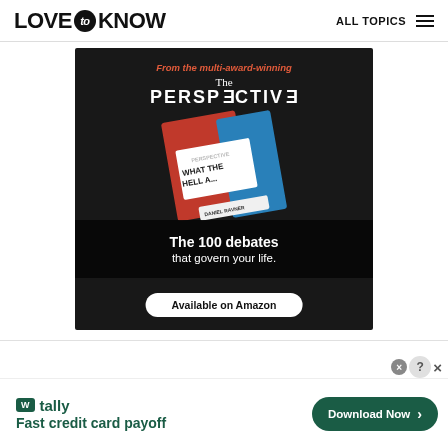LOVE to KNOW   ALL TOPICS
[Figure (illustration): Advertisement for 'The Perspective' book by Daniel Ravner. Dark background with a red and blue book showing 'WHAT THE HELL...' text. Tag line: 'From the multi-award-winning / The PERSPECTIVE / The 100 debates that govern your life.' Button: 'Available on Amazon']
[Figure (illustration): Tally app advertisement banner at bottom. Green logo with 'tally' text. Tagline: 'Fast credit card payoff'. Green 'Download Now' button with arrow. Close/info buttons in top right corner.]